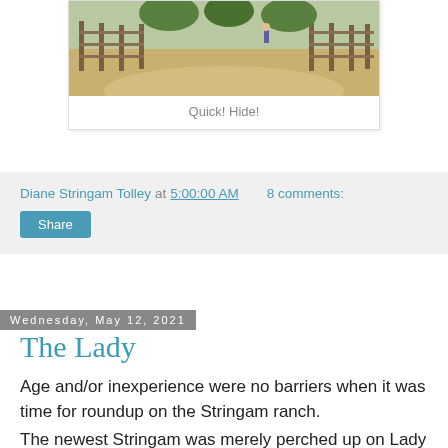[Figure (photo): Outdoor photograph showing a sandy path or corral area with wooden fencing, trees, and a person in the background]
Quick! Hide!
Diane Stringam Tolley at 5:00:00 AM    8 comments:
Share
Wednesday, May 12, 2021
The Lady
Age and/or inexperience were no barriers when it was time for roundup on the Stringam ranch.
The newest Stringam was merely perched up on Lady and told to "Hang on!"
A little background . . .